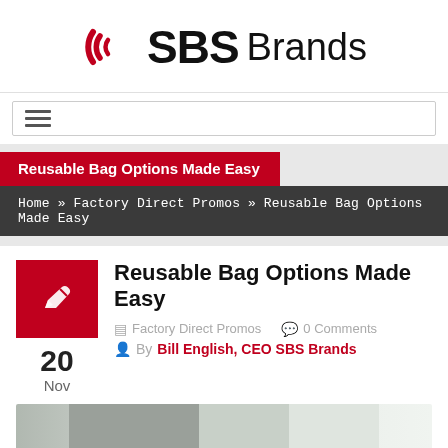[Figure (logo): SBS Brands logo with red circular swoosh icon and bold black SBS Brands text]
[Figure (screenshot): Navigation hamburger menu bar]
Reusable Bag Options Made Easy
Home » Factory Direct Promos » Reusable Bag Options Made Easy
Reusable Bag Options Made Easy
Factory Direct Promos   0 Comments
By Bill English, CEO SBS Brands
[Figure (photo): Partial photo of hands or objects, partially visible at bottom of page]